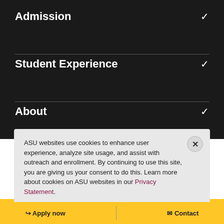Admission
Student Experience
About
ASU websites use cookies to enhance user experience, analyze site usage, and assist with outreach and enrollment. By continuing to use this site, you are giving us your consent to do this. Learn more about cookies on ASU websites in our Privacy Statement.
Ok, I agree
Apply now   Contact